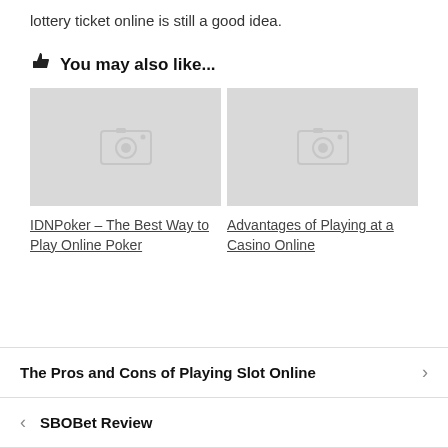lottery ticket online is still a good idea.
👍 You may also like...
[Figure (photo): Placeholder image with camera icon (gray background) for IDNPoker article]
[Figure (photo): Placeholder image with camera icon (gray background) for Casino Online article]
IDNPoker – The Best Way to Play Online Poker
Advantages of Playing at a Casino Online
The Pros and Cons of Playing Slot Online
SBOBet Review